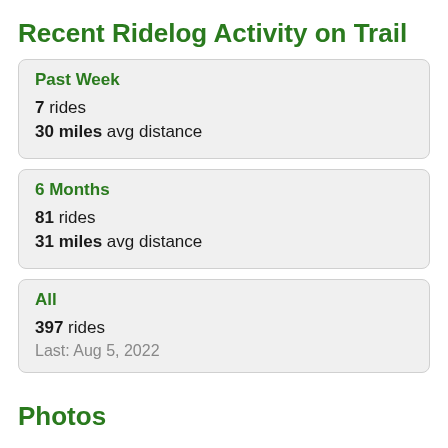Recent Ridelog Activity on Trail
Past Week
7 rides
30 miles avg distance
6 Months
81 rides
31 miles avg distance
All
397 rides
Last: Aug 5, 2022
Photos